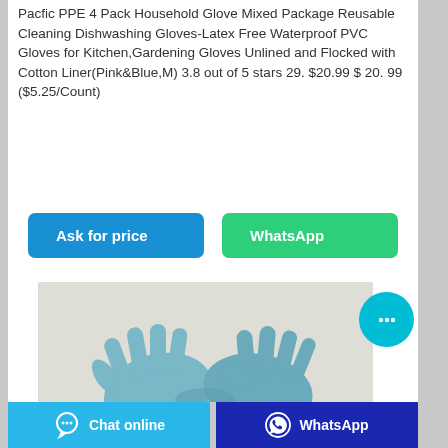Pacfic PPE 4 Pack Household Glove Mixed Package Reusable Cleaning Dishwashing Gloves-Latex Free Waterproof PVC Gloves for Kitchen,Gardening Gloves Unlined and Flocked with Cotton Liner(Pink&Blue,M) 3.8 out of 5 stars 29. $20.99 $ 20. 99 ($5.25/Count)
[Figure (other): Ask for price button (blue) and WhatsApp button (green)]
[Figure (photo): Two hands wearing blue rubber/latex gloves against a light background]
[Figure (other): Floating chat bubble icon (cyan circle with ellipsis)]
[Figure (other): Footer bar with Chat online (light blue) and WhatsApp (dark blue) buttons]